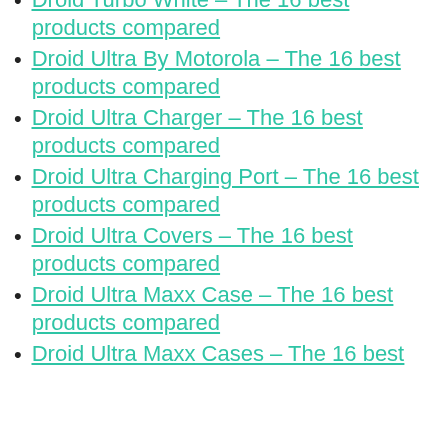Droid Turbo White – The 16 best products compared
Droid Ultra By Motorola – The 16 best products compared
Droid Ultra Charger – The 16 best products compared
Droid Ultra Charging Port – The 16 best products compared
Droid Ultra Covers – The 16 best products compared
Droid Ultra Maxx Case – The 16 best products compared
Droid Ultra Maxx Cases – The 16 best products compared